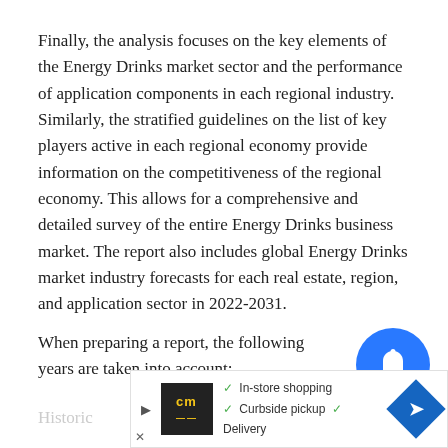Finally, the analysis focuses on the key elements of the Energy Drinks market sector and the performance of application components in each regional industry. Similarly, the stratified guidelines on the list of key players active in each regional economy provide information on the competitiveness of the regional economy. This allows for a comprehensive and detailed survey of the entire Energy Drinks business market. The report also includes global Energy Drinks market industry forecasts for each real estate, region, and application sector in 2022-2031.
When preparing a report, the following years are taken into account:
Historic